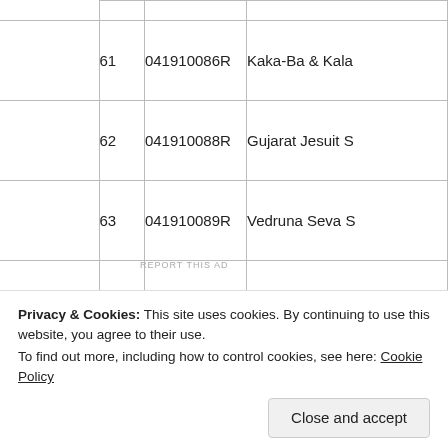|  | Code | Name |
| --- | --- | --- |
| 61 | 041910086R | Kaka-Ba & Kala... |
| 62 | 041910088R | Gujarat Jesuit S... |
| 63 | 041910089R | Vedruna Seva S... |
| 64 | 041910090R | Shalom Method... |
| 65 | 041910091R | Aga Khan Rura... |
| 66 | 041910092R | Methodist Chur... |
| 67 | 041910094R | Consumer... |
REPORT THIS AD
Privacy & Cookies: This site uses cookies. By continuing to use this website, you agree to their use.
To find out more, including how to control cookies, see here: Cookie Policy
Close and accept